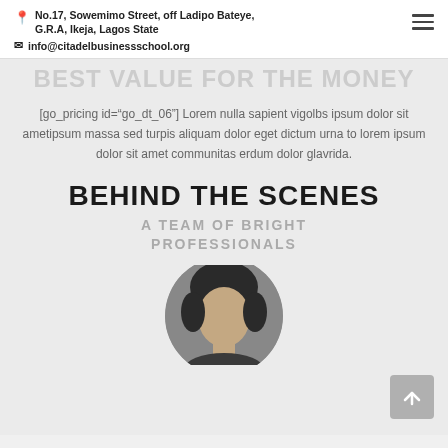No.17, Sowemimo Street, off Ladipo Bateye, G.R.A, Ikeja, Lagos State | info@citadelbusinessschool.org
BEST VALUE FOR THE MONEY
[go_pricing id="go_dt_06"] Lorem nulla sapient vigolbs ipsum dolor sit ametipsum massa sed turpis aliquam dolor eget dictum urna to lorem ipsum dolor sit amet communitas erdum dolor glavrida.
BEHIND THE SCENES
A TEAM OF BRIGHT PROFESSIONALS
[Figure (photo): Circular cropped black and white portrait photo of a person, partially visible at bottom of page]